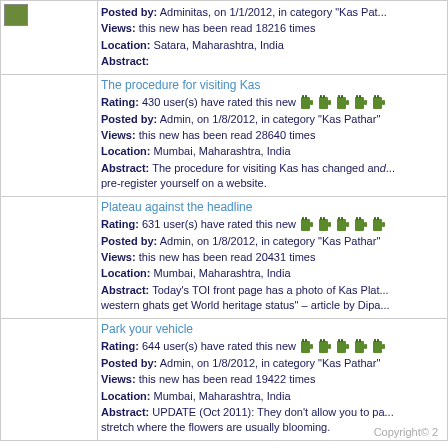| [image] | Posted by: Adminitas, on 1/1/2012, in category "Kas Pat..."
Views: this new has been read 18216 times
Location: Satara, Maharashtra, India
Abstract: |
| [image] | The procedure for visiting Kas
Rating: 430 user(s) have rated this new
Posted by: Admin, on 1/8/2012, in category "Kas Pathar"
Views: this new has been read 28640 times
Location: Mumbai, Maharashtra, India
Abstract: The procedure for visiting Kas has changed and... pre-register yourself on a website. |
| [image] | Plateau against the headline
Rating: 631 user(s) have rated this new
Posted by: Admin, on 1/8/2012, in category "Kas Pathar"
Views: this new has been read 20431 times
Location: Mumbai, Maharashtra, India
Abstract: Today's TOI front page has a photo of Kas Plat... western ghats get World heritage status" – article by Dipa... |
| [image] | Park your vehicle
Rating: 644 user(s) have rated this new
Posted by: Admin, on 1/8/2012, in category "Kas Pathar"
Views: this new has been read 19422 times
Location: Mumbai, Maharashtra, India
Abstract: UPDATE (Oct 2011): They don't allow you to pa... stretch where the flowers are usually blooming. |
Copyright© 2